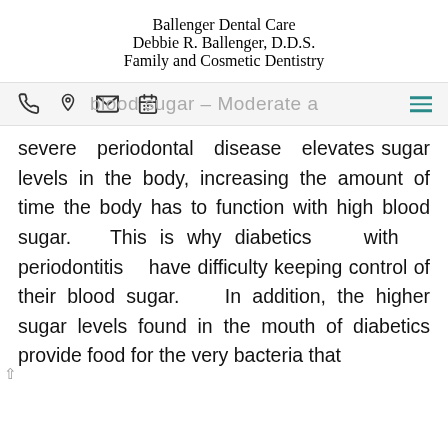Ballenger Dental Care
Debbie R. Ballenger, D.D.S.
Family and Cosmetic Dentistry
Navigation bar with phone, location, email, calendar icons and menu
severe periodontal disease elevates sugar levels in the body, increasing the amount of time the body has to function with high blood sugar. This is why diabetics with periodontitis have difficulty keeping control of their blood sugar. In addition, the higher sugar levels found in the mouth of diabetics provide food for the very bacteria that